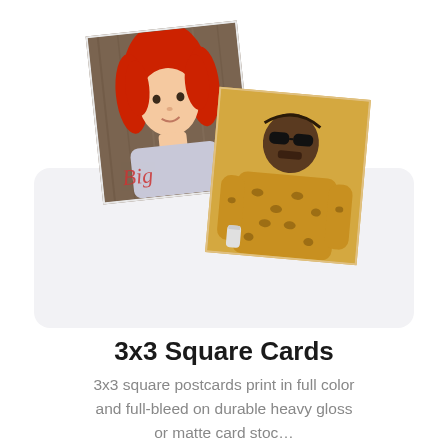[Figure (illustration): Two overlapping square card samples shown at slight angles. First card shows a cartoon girl with red hair on a wood-grain background with 'Big' text. Second card shows a cartoon rapper in leopard print outfit on a golden/yellow background. Cards rest on a light grey rounded rectangle.]
3x3 Square Cards
3x3 square postcards print in full color and full-bleed on durable heavy gloss or matte card stoc...